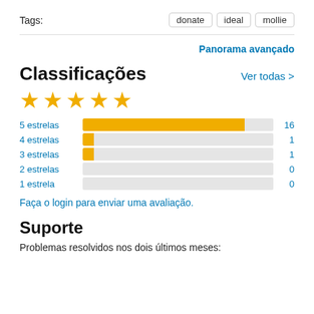Tags:
donate   ideal   mollie
Panorama avançado
Classificações
Ver todas >
[Figure (other): 5 yellow stars rating]
[Figure (bar-chart): Star ratings]
Faça o login para enviar uma avaliação.
Suporte
Problemas resolvidos nos dois últimos meses: